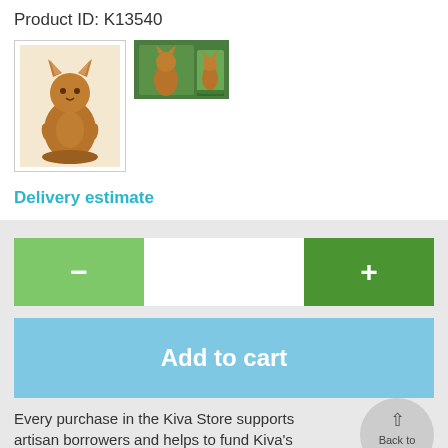Product ID: K13540
[Figure (photo): Wooden cat figurine in meditation/prayer pose, main product image with border]
[Figure (photo): Two thumbnail images stacked: large cat figurine with smaller version beside it]
Delivery estimate
[Figure (other): Quantity selector with green minus button on left, white input field in center, darker green plus button on right]
[Figure (other): Add to cart button in light blue]
Every purchase in the Kiva Store supports artisan borrowers and helps to fund Kiva's operations.
Back to top